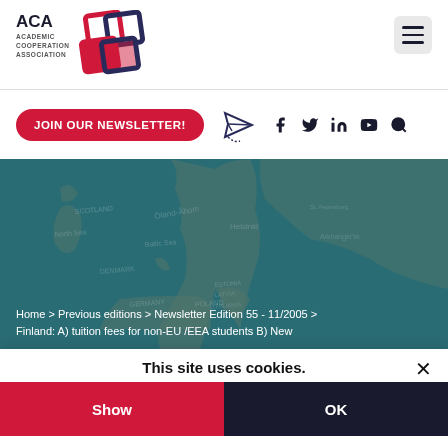[Figure (logo): ACA Academic Cooperation Association logo with interlocking diamond shapes in red and dark blue]
JOIN OUR NEWSLETTER! [paper plane icon] [facebook] [twitter] [linkedin] [youtube] [search]
[Figure (map): Map of Northern Europe with teal overlay showing Scandinavia, Baltic states, Germany, and surrounding regions]
Home > Previous editions > Newsletter Edition 55 - 11/2005 > Finland: A) tuition fees for non-EU /EEA students B) New
This site uses cookies.
Show
OK